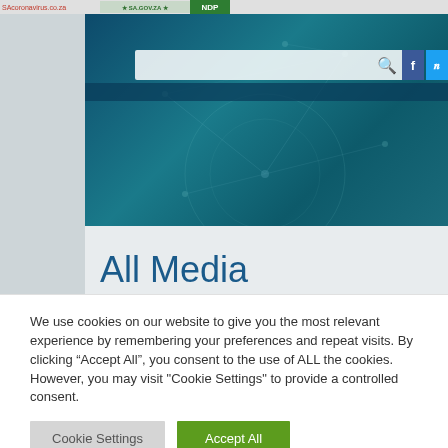[Figure (screenshot): Website screenshot showing a dark teal network/technology banner image with a search bar and social media icons (Facebook, Twitter). Header shows SAcoronavirus.co.za link and NDP/government logos. Navigation bar below search field. Background shows geometric network pattern.]
All Media
We use cookies on our website to give you the most relevant experience by remembering your preferences and repeat visits. By clicking “Accept All”, you consent to the use of ALL the cookies. However, you may visit "Cookie Settings" to provide a controlled consent.
Cookie Settings
Accept All